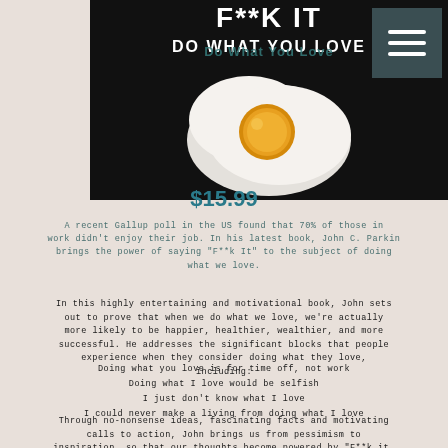[Figure (photo): Book cover image with dark background showing title 'F**k It: Do What You Love' with a fried egg graphic]
F**K IT
DO WHAT YOU LOVE
$15.99
A recent Gallup poll in the US found that 70% of those in work didn't enjoy their job. In his latest book, John C. Parkin brings the power of saying "F**k It" to the subject of doing what we love.
In this highly entertaining and motivational book, John sets out to prove that when we do what we love, we're actually more likely to be happier, healthier, wealthier, and more successful. He addresses the significant blocks that people experience when they consider doing what they love, including:
Doing what you love is for time off, not work
Doing what I love would be selfish
I just don't know what I love
I could never make a living from doing what I love
Through no-nonsense ideas, fascinating facts and motivating calls to action, John brings us from pessimism to inspiration, so that our thoughts become powered by "F**k it,"